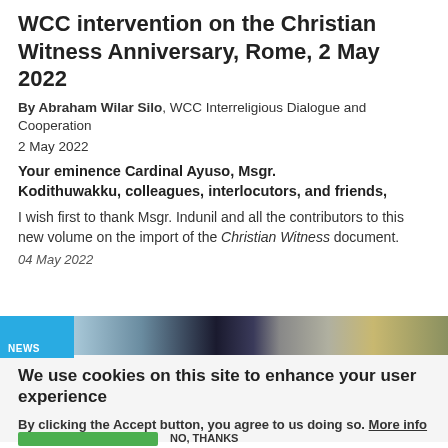WCC intervention on the Christian Witness Anniversary, Rome, 2 May 2022
By Abraham Wilar Silo, WCC Interreligious Dialogue and Cooperation
2 May 2022
Your eminence Cardinal Ayuso, Msgr. Kodithuwakku, colleagues, interlocutors, and friends,
I wish first to thank Msgr. Indunil and all the contributors to this new volume on the import of the Christian Witness document.
04 May 2022
[Figure (photo): News banner with blue NEWS label and a strip of landscape/nature photograph images]
We use cookies on this site to enhance your user experience
By clicking the Accept button, you agree to us doing so. More info